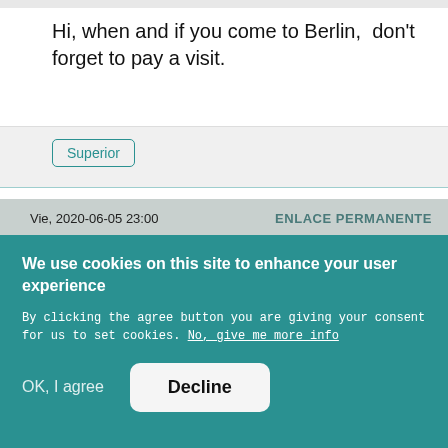Hi, when and if you come to Berlin,  don't forget to pay a visit.
[Figure (other): A button/tag labeled 'Superior' with teal border, inside a light gray panel with a teal bottom border.]
Vie, 2020-06-05 23:00    ENLACE PERMANENTE
[Figure (photo): Partial view of a circular avatar with teal/green color.]
We use cookies on this site to enhance your user experience

By clicking the agree button you are giving your consent for us to set cookies. No, give me more info

OK, I agree    Decline